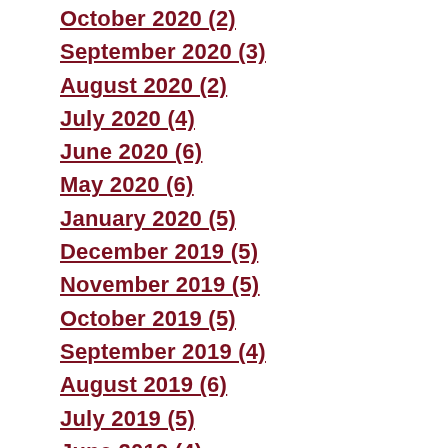October 2020 (2)
September 2020 (3)
August 2020 (2)
July 2020 (4)
June 2020 (6)
May 2020 (6)
January 2020 (5)
December 2019 (5)
November 2019 (5)
October 2019 (5)
September 2019 (4)
August 2019 (6)
July 2019 (5)
June 2019 (4)